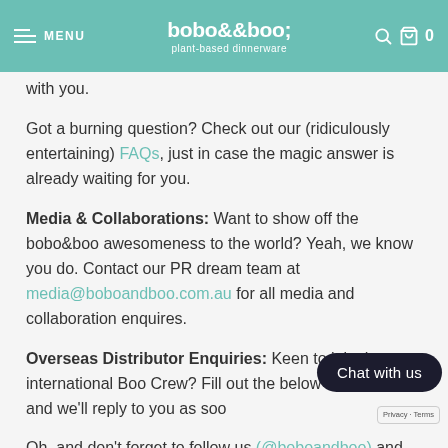MENU | bobo&boo plant-based dinnerware | 0
with you.
Got a burning question? Check out our (ridiculously entertaining) FAQs, just in case the magic answer is already waiting for you.
Media & Collaborations: Want to show off the bobo&boo awesomeness to the world? Yeah, we know you do. Contact our PR dream team at media@boboandboo.com.au for all media and collaboration enquires.
Overseas Distributor Enquiries: Keen to join the international Boo Crew? Fill out the below contact form, and we'll reply to you as soo...
Oh, and don't forget to follow us (@boboandboo) and sign up for access to the Boo